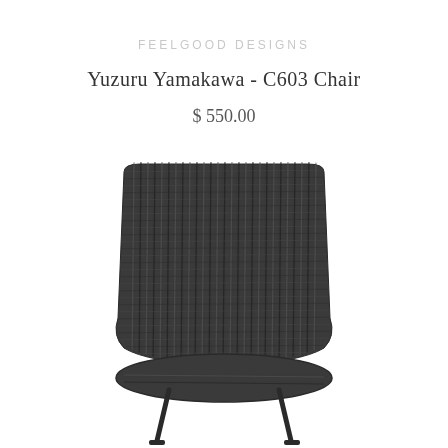FEELGOOD DESIGNS
Yuzuru Yamakawa - C603 Chair
$ 550.00
[Figure (photo): Rear view of a dark charcoal/black woven wicker chair (C603) with thin metal legs, showing the woven back and seat from behind on a white background.]